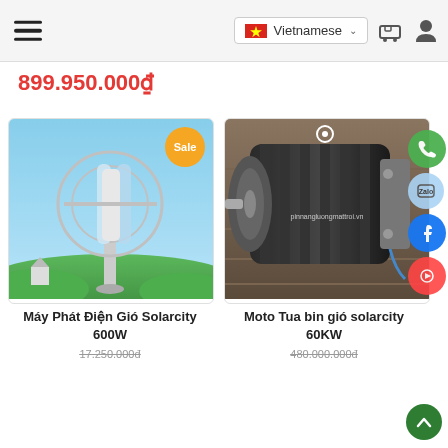Vietnamese
899.950.000₫
[Figure (screenshot): Product card for Máy Phát Điện Gió Solarcity 600W showing a vertical axis wind turbine against a blue sky background, with Sale badge]
Máy Phát Điện Gió Solarcity 600W
17.250.000đ
[Figure (photo): Product card for Moto Tua bin gió solarcity 60KW showing a large electric motor on a wooden surface]
Moto Tua bin gió solarcity 60KW
480.000.000đ